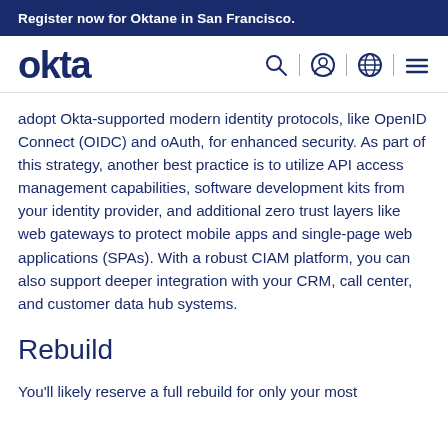Register now for Oktane in San Francisco.
[Figure (logo): Okta logo with navigation icons (search, user, globe, hamburger menu)]
adopt Okta-supported modern identity protocols, like OpenID Connect (OIDC) and oAuth, for enhanced security. As part of this strategy, another best practice is to utilize API access management capabilities, software development kits from your identity provider, and additional zero trust layers like web gateways to protect mobile apps and single-page web applications (SPAs). With a robust CIAM platform, you can also support deeper integration with your CRM, call center, and customer data hub systems.
Rebuild
You'll likely reserve a full rebuild for only your most